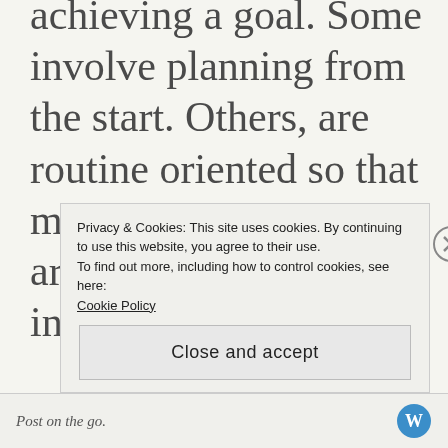achieving a goal. Some involve planning from the start. Others, are routine oriented so that motivation and focus are not lost after the initial excitement.  All
Privacy & Cookies: This site uses cookies. By continuing to use this website, you agree to their use.
To find out more, including how to control cookies, see here:
Cookie Policy
Close and accept
Post on the go.